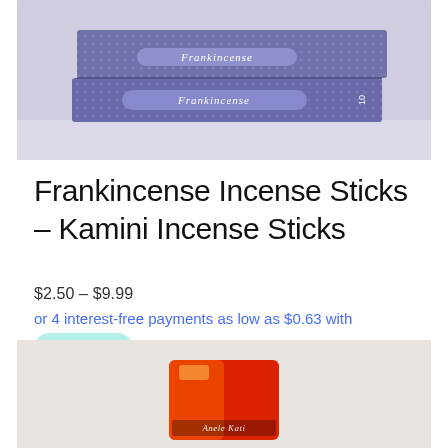[Figure (photo): Photo of Frankincense incense sticks boxes with purple/blue decorative packaging labeled 'Frankincense']
Frankincense Incense Sticks – Kamini Incense Sticks
$2.50 – $9.99
or 4 interest-free payments as low as $0.63 with afterpay
[Figure (photo): Partial photo of a red/orange product (incense or similar) in plastic packaging with label partially visible]